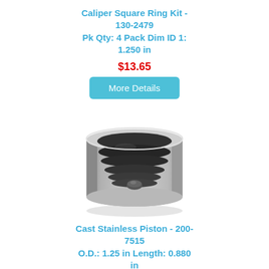Caliper Square Ring Kit - 130-2479
Pk Qty: 4 Pack Dim ID 1: 1.250 in
$13.65
More Details
[Figure (photo): Photo of a cast stainless brake caliper piston viewed from above, showing a cylindrical metal cup shape with a hollow interior and a raised center nub, silver/chrome metallic finish.]
Cast Stainless Piston - 200-7515
O.D.: 1.25 in Length: 0.880 in